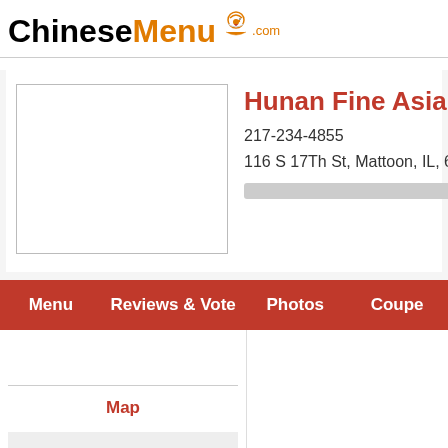ChineseMenu.com
Hunan Fine Asian
217-234-4855
116 S 17Th St, Mattoon, IL, 61938-
[Figure (other): Restaurant photo placeholder box (empty white box with border)]
Menu
Reviews & Vote
Photos
Coupe
Map
About Us